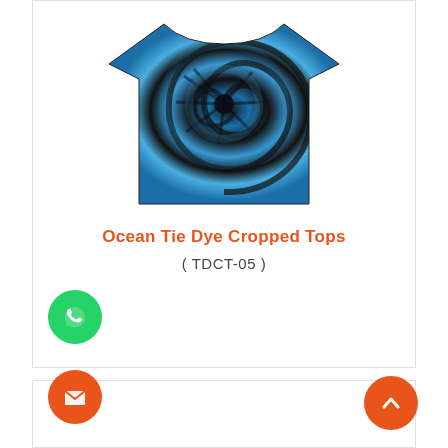[Figure (photo): Blue and black ocean tie dye cropped t-shirt on white background]
Ocean Tie Dye Cropped Tops
( TDCT-05 )
Enquire Now
[Figure (other): WhatsApp contact button - green circle with chat icon]
[Figure (other): Email contact button - orange circle with envelope icon]
[Figure (other): Scroll to top button - orange circle with chevron up icon]